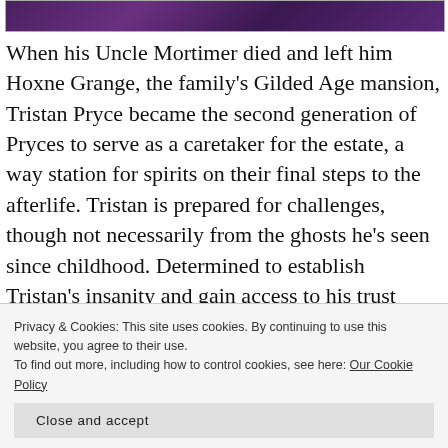[Figure (photo): Dark purple/violet toned image strip at top of page, partially visible]
When his Uncle Mortimer died and left him Hoxne Grange, the family's Gilded Age mansion, Tristan Pryce became the second generation of Pryces to serve as a caretaker for the estate, a way station for spirits on their final steps to the afterlife. Tristan is prepared for challenges, though not necessarily from the ghosts he's seen since childhood. Determined to establish Tristan's insanity and gain access to his trust fund, his
Privacy & Cookies: This site uses cookies. By continuing to use this website, you agree to their use.
To find out more, including how to control cookies, see here: Our Cookie Policy
Close and accept